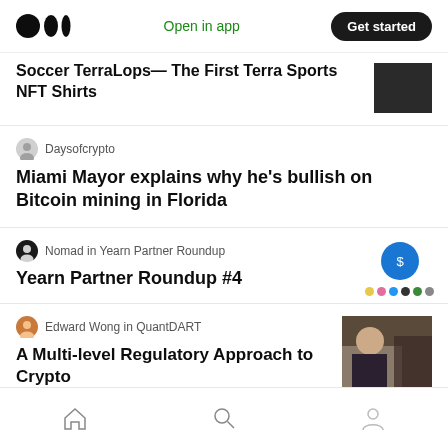Medium app header with logo, Open in app, Get started
Soccer TerraLops— The First Terra Sports NFT Shirts
Daysofcrypto
Miami Mayor explains why he's bullish on Bitcoin mining in Florida
Nomad in Yearn Partner Roundup
Yearn Partner Roundup #4
Edward Wong in QuantDART
A Multi-level Regulatory Approach to Crypto
Home | Search | Profile navigation icons